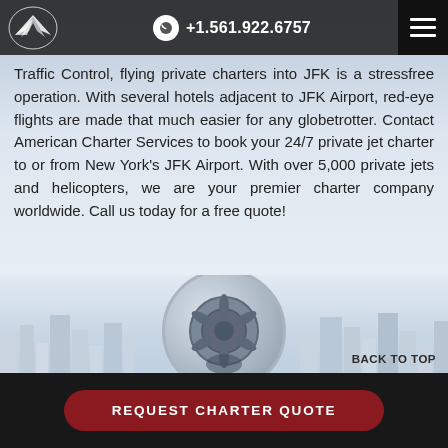American Charter Services +1.561.922.6757
Traffic Control, flying private charters into JFK is a stressfree operation. With several hotels adjacent to JFK Airport, red-eye flights are made that much easier for any globetrotter. Contact American Charter Services to book your 24/7 private jet charter to or from New York's JFK Airport. With over 5,000 private jets and helicopters, we are your premier charter company worldwide. Call us today for a free quote!
[Figure (photo): City skyline with skyscrapers in background and circular image of private jet aircraft engine/plane in foreground, with BACK TO TOP label]
REQUEST CHARTER QUOTE